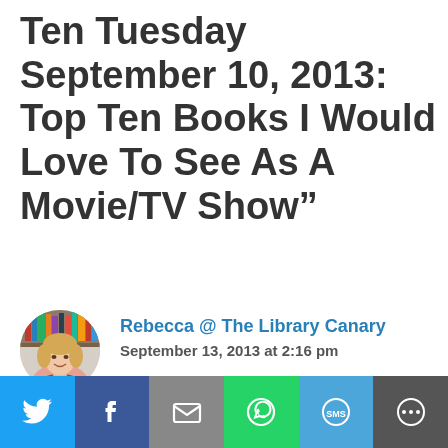Ten Tuesday September 10, 2013: Top Ten Books I Would Love To See As A Movie/TV Show”
[Figure (photo): Circular avatar photo of Rebecca, a woman with blonde hair wearing a red top, with bookshelves in the background]
Rebecca @ The Library Canary
September 13, 2013 at 2:16 pm
Cinder and Under the Never Sky
[Figure (infographic): Social share bar with six buttons: Twitter (blue), Facebook (dark blue), Email (gray), WhatsApp (green), SMS (light blue), More (dark gray)]